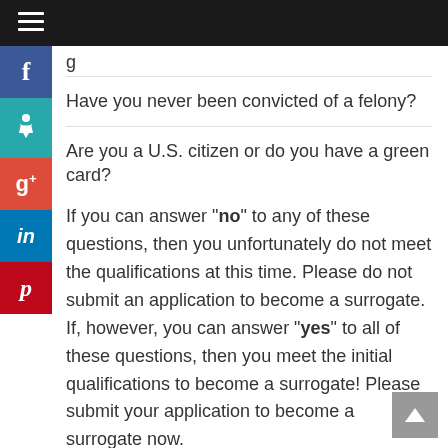g
Have you never been convicted of a felony?
Are you a U.S. citizen or do you have a green card?
If you can answer "no" to any of these questions, then you unfortunately do not meet the qualifications at this time. Please do not submit an application to become a surrogate. If, however, you can answer "yes" to all of these questions, then you meet the initial qualifications to become a surrogate! Please submit your application to become a surrogate now.
OREGON SURROGATE AGENCY POLL
Hey Surrogate! Tell Us: Which Quality Is Most